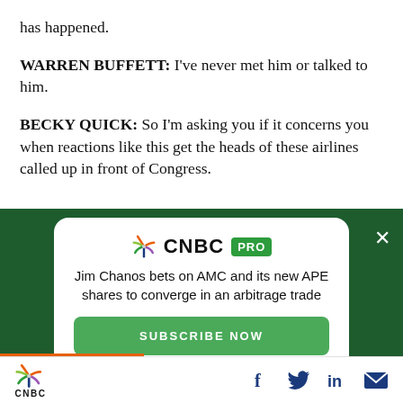has happened.
WARREN BUFFETT: I've never met him or talked to him.
BECKY QUICK: So I'm asking you if it concerns you when reactions like this get the heads of these airlines called up in front of Congress.
[Figure (infographic): CNBC PRO advertisement card on dark green background. Headline: 'Jim Chanos bets on AMC and its new APE shares to converge in an arbitrage trade'. Button: 'SUBSCRIBE NOW'. Close X button in top-right corner.]
CNBC logo with peacock icon, social share icons: Facebook, Twitter, LinkedIn, Email